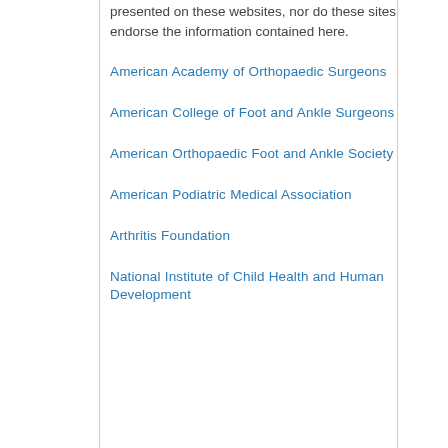presented on these websites, nor do these sites endorse the information contained here.
American Academy of Orthopaedic Surgeons
American College of Foot and Ankle Surgeons
American Orthopaedic Foot and Ankle Society
American Podiatric Medical Association
Arthritis Foundation
National Institute of Child Health and Human Development